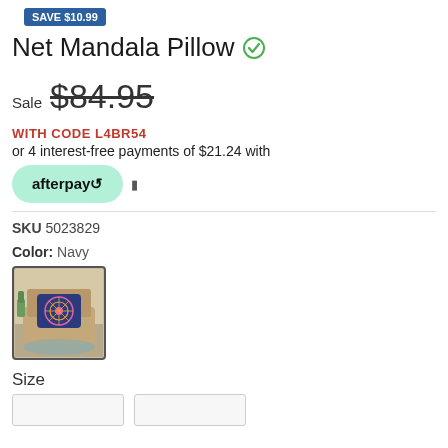SAVE $10.99
Net Mandala Pillow
Sale $84.95
WITH CODE L4BR54
or 4 interest-free payments of $21.24 with
afterpay
SKU 5023829
Color: Navy
[Figure (photo): Product thumbnail showing a navy mandala pillow on a chair]
Size